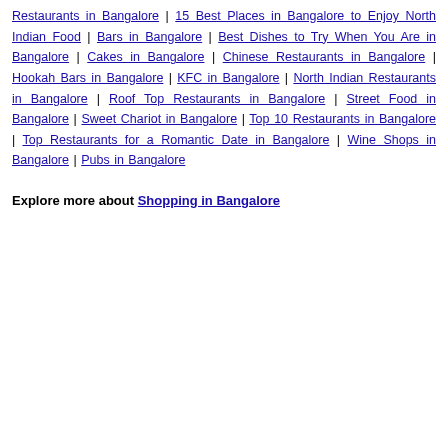Restaurants in Bangalore | 15 Best Places in Bangalore to Enjoy North Indian Food | Bars in Bangalore | Best Dishes to Try When You Are in Bangalore | Cakes in Bangalore | Chinese Restaurants in Bangalore | Hookah Bars in Bangalore | KFC in Bangalore | North Indian Restaurants in Bangalore | Roof Top Restaurants in Bangalore | Street Food in Bangalore | Sweet Chariot in Bangalore | Top 10 Restaurants in Bangalore | Top Restaurants for a Romantic Date in Bangalore | Wine Shops in Bangalore | Pubs in Bangalore
Explore more about  Shopping in Bangalore